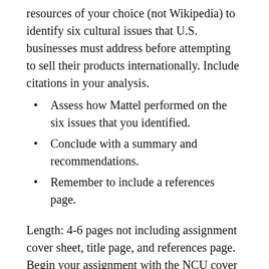resources of your choice (not Wikipedia) to identify six cultural issues that U.S. businesses must address before attempting to sell their products internationally. Include citations in your analysis.
Assess how Mattel performed on the six issues that you identified.
Conclude with a summary and recommendations.
Remember to include a references page.
Length: 4-6 pages not including assignment cover sheet, title page, and references page. Begin your assignment with the NCU cover sheet, followed by a title page, and then an introduction, where you will state the purpose